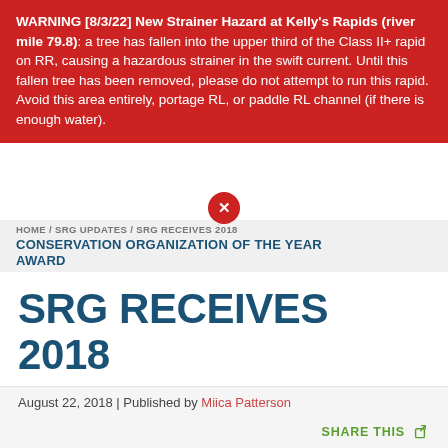WARNING [8/3/22] New Strainer Hazard at Kelly's Rapids (river mile 79.8): a tree has fallen into the upper third of the Class II+ rapid on RR, causing a hazardous strainer in the swift current. Until this fallen tree has been removed, please do not attempt to run this rapid. Avoid this area entirely, portage RL, or paddle RL channel (if there is enough water).
HOME / SRG UPDATES / SRG RECEIVES 2018 CONSERVATION ORGANIZATION OF THE YEAR AWARD
SRG RECEIVES 2018 CONSERVATION ORGANIZATION OF THE YEAR AWARD
August 22, 2018 | Published by Miica Patterson
SHARE THIS